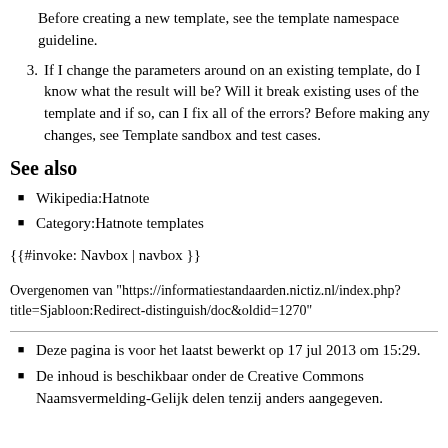Before creating a new template, see the template namespace guideline.
3. If I change the parameters around on an existing template, do I know what the result will be? Will it break existing uses of the template and if so, can I fix all of the errors? Before making any changes, see Template sandbox and test cases.
See also
Wikipedia:Hatnote
Category:Hatnote templates
{{#invoke: Navbox | navbox }}
Overgenomen van "https://informatiestandaarden.nictiz.nl/index.php?title=Sjabloon:Redirect-distinguish/doc&oldid=1270"
Deze pagina is voor het laatst bewerkt op 17 jul 2013 om 15:29.
De inhoud is beschikbaar onder de Creative Commons Naamsvermelding-Gelijk delen tenzij anders aangegeven.